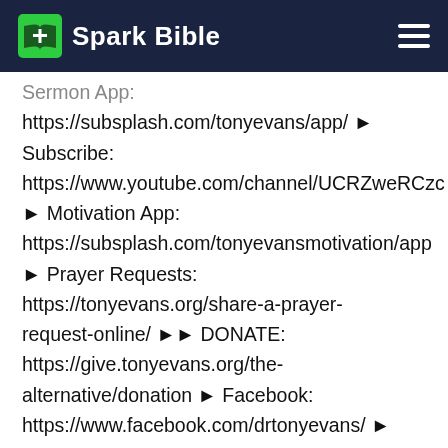Spark Bible
Sermon App:
https://subsplash.com/tonyevans/app/ ▶ Subscribe:
https://www.youtube.com/channel/UCRZweRCzc
▶ Motivation App:
https://subsplash.com/tonyevansmotivation/app
▶ Prayer Requests:
https://tonyevans.org/share-a-prayer-request-online/ ▶▶ DONATE:
https://give.tonyevans.org/the-alternative/donation ▶ Facebook:
https://www.facebook.com/drtonyevans/ ▶